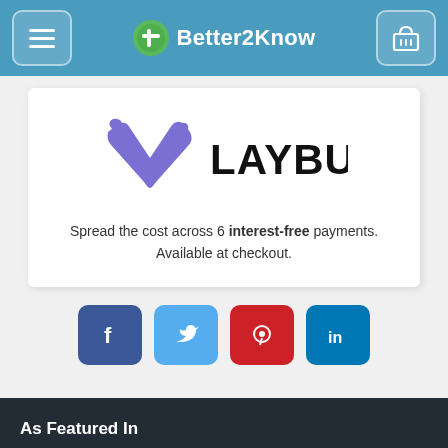Better2Know
[Figure (logo): Laybuy logo with purple checkmark/heart icon and LAYBUY wordmark in black text]
Spread the cost across 6 interest-free payments. Available at checkout.
[Figure (infographic): Social sharing buttons row: Facebook (blue), Twitter (light blue), Pinterest (red), LinkedIn (teal)]
As Featured In